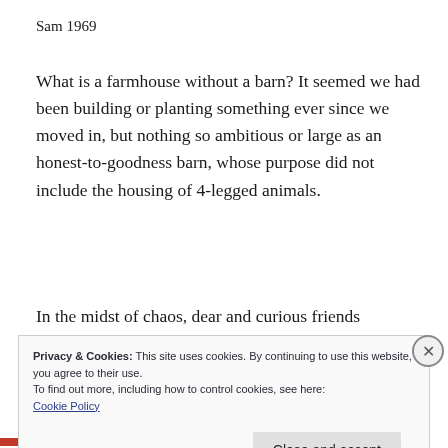Sam 1969
What is a farmhouse without a barn? It seemed we had been building or planting something ever since we moved in, but nothing so ambitious or large as an honest-to-goodness barn, whose purpose did not include the housing of 4-legged animals.
In the midst of chaos, dear and curious friends
Privacy & Cookies: This site uses cookies. By continuing to use this website, you agree to their use.
To find out more, including how to control cookies, see here:
Cookie Policy
Close and accept